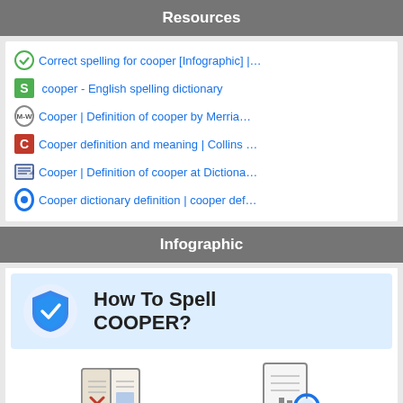Resources
Correct spelling for cooper [Infographic] |…
cooper - English spelling dictionary
Cooper | Definition of cooper by Merria…
Cooper definition and meaning | Collins …
Cooper | Definition of cooper at Dictiona…
Cooper dictionary definition | cooper def…
Infographic
[Figure (infographic): How To Spell COOPER? infographic with shield checkmark icon, book with X icon for Definitions, and document with magnifier icon for List of misspellings]